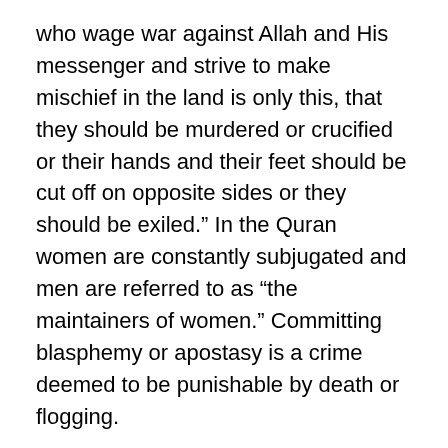who wage war against Allah and His messenger and strive to make mischief in the land is only this, that they should be murdered or crucified or their hands and their feet should be cut off on opposite sides or they should be exiled.” In the Quran women are constantly subjugated and men are referred to as “the maintainers of women.” Committing blasphemy or apostasy is a crime deemed to be punishable by death or flogging.
There is such a limited tolerance for freedom of speech and equality yet we still continue to look away and convince ourselves that nothing needs to be changed. Of course this isn’t an interpretation that most Muslims believe in, but it is the true face of Islam.
Saudi Arabia, Afghanistan, ISIL, Boko Haram and countless others, embody this literal interpretation and